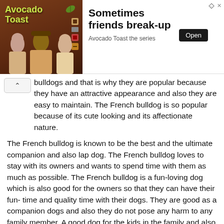[Figure (illustration): Advertisement banner for 'Avocado Toast the series'. Left side shows a brown-toned image with three people and the stylized text 'Avocado Toast' in yellow-green. Right side shows the text 'Sometimes friends break-up' with an 'Open' button and subtitle 'Avocado Toast the series'.]
bulldogs and that is why they are popular because they have an attractive appearance and also they are easy to maintain. The French bulldog is so popular because of its cute looking and its affectionate nature.
The French bulldog is known to be the best and the ultimate companion and also lap dog. The French bulldog loves to stay with its owners and wants to spend time with them as much as possible. The French bulldog is a fun-loving dog which is also good for the owners so that they can have their fun- time and quality time with their dogs. They are good as a companion dogs and also they do not pose any harm to any family member. A good dog for the kids in the family and also it can also be perfect for first-